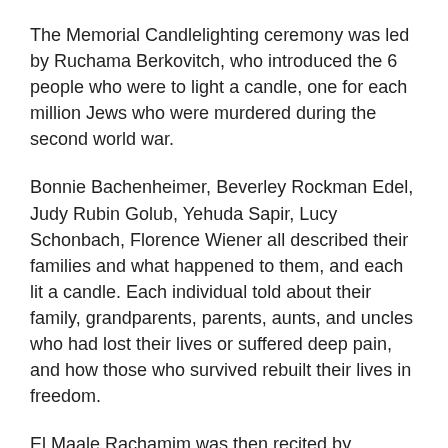The Memorial Candlelighting ceremony was led by Ruchama Berkovitch, who introduced the 6 people who were to light a candle, one for each million Jews who were murdered during the second world war.
Bonnie Bachenheimer, Beverley Rockman Edel, Judy Rubin Golub, Yehuda Sapir, Lucy Schonbach, Florence Wiener all described their families and what happened to them, and each lit a candle. Each individual told about their family, grandparents, parents, aunts, and uncles who had lost their lives or suffered deep pain, and how those who survived rebuilt their lives in freedom.
El Maale Rachamim was then recited by Chazan David Apfel.
Chaim Sanders spoke about his connection to the